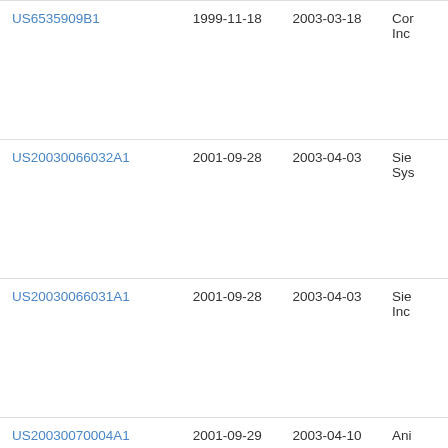| Patent Number | Filing Date | Publication Date | Assignee |
| --- | --- | --- | --- |
| US6535909B1 | 1999-11-18 | 2003-03-18 | Cor
Inc |
| US20030066032A1 | 2001-09-28 | 2003-04-03 | Sie
Sys |
| US20030066031A1 | 2001-09-28 | 2003-04-03 | Sie
Inc |
| US20030070004A1 | 2001-09-29 | 2003-04-10 | Ani |